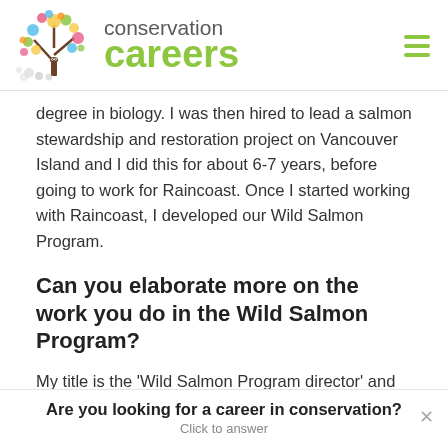[Figure (logo): Conservation Careers logo with colorful tree illustration and text 'conservation careers' in grey and green]
degree in biology. I was then hired to lead a salmon stewardship and restoration project on Vancouver Island and I did this for about 6-7 years, before going to work for Raincoast. Once I started working with Raincoast, I developed our Wild Salmon Program.
Can you elaborate more on the work you do in the Wild Salmon Program?
My title is the ‘Wild Salmon Program director’ and most of my work revolves around sustainable fisheries/salmon
Are you looking for a career in conservation?
Click to answer